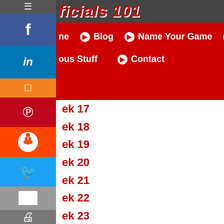ficials 101
Blog | Name Your Game | Fun Stuff
ous Stuff | Contact
ek 17
ek 18
ek 19
ek 20
ek 21
ek 22
ek 23
ek 24
ek 25
ek 26